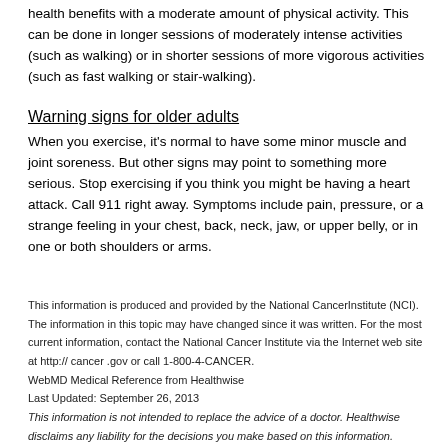health benefits with a moderate amount of physical activity. This can be done in longer sessions of moderately intense activities (such as walking) or in shorter sessions of more vigorous activities (such as fast walking or stair-walking).
Warning signs for older adults
When you exercise, it's normal to have some minor muscle and joint soreness. But other signs may point to something more serious. Stop exercising if you think you might be having a heart attack. Call 911 right away. Symptoms include pain, pressure, or a strange feeling in your chest, back, neck, jaw, or upper belly, or in one or both shoulders or arms.
This information is produced and provided by the National CancerInstitute (NCI). The information in this topic may have changed since it was written. For the most current information, contact the National Cancer Institute via the Internet web site at http:// cancer .gov or call 1-800-4-CANCER.
WebMD Medical Reference from Healthwise
Last Updated: September 26, 2013
This information is not intended to replace the advice of a doctor. Healthwise disclaims any liability for the decisions you make based on this information.